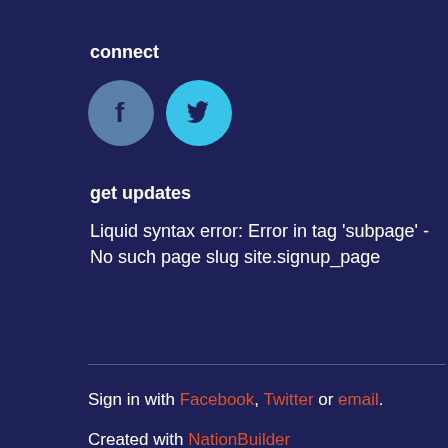connect
[Figure (illustration): Two social media icon circles: a grey-blue Facebook icon and a cyan Twitter bird icon]
get updates
Liquid syntax error: Error in tag 'subpage' - No such page slug site.signup_page
Sign in with Facebook, Twitter or email.
Created with NationBuilder